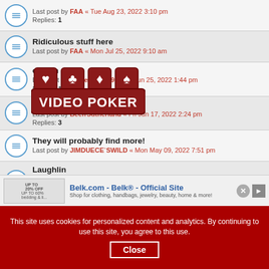Last post by FAA « Tue Aug 23, 2022 3:10 pm
Replies: 1
Ridiculous stuff here
Last post by FAA « Mon Jul 25, 2022 9:10 am
old em slots
Last post by treblehook329 « Sat Jun 25, 2022 1:44 pm
Replies: 1
Bellagio
Last post by BeefrSutherland « Fri Jun 17, 2022 2:24 pm
Replies: 3
They will probably find more!
Last post by JIMDUECE`SWILD « Mon May 09, 2022 7:51 pm
Laughlin
Last post by Chicagoan « Thu Apr 28, 2022 6:28 am
Replies: 19
100 play
[Figure (logo): Video Poker logo with card suits overlay]
Belk.com - Belk® - Official Site
Shop for clothing, handbags, jewelry, beauty, home & more!
This site uses cookies for personalized content and analytics. By continuing to use this site, you agree to this use. Close